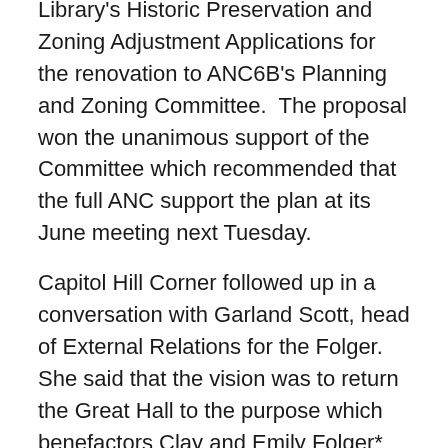Library's Historic Preservation and Zoning Adjustment Applications for the renovation to ANC6B's Planning and Zoning Committee.  The proposal won the unanimous support of the Committee which recommended that the full ANC support the plan at its June meeting next Tuesday.
Capitol Hill Corner followed up in a conversation with Garland Scott, head of External Relations for the Folger.  She said that the vision was to return the Great Hall to the purpose which benefactors Clay and Emily Folger* intended.
Most visitors have seen the Great Hall in dim artificial light meant to protect the rare materials on display.  With the relocation of the Folger's collection, the Great Hall can be used for other purposes.  The current exhibition in half the hall contains no such materials, permitting shutters to be